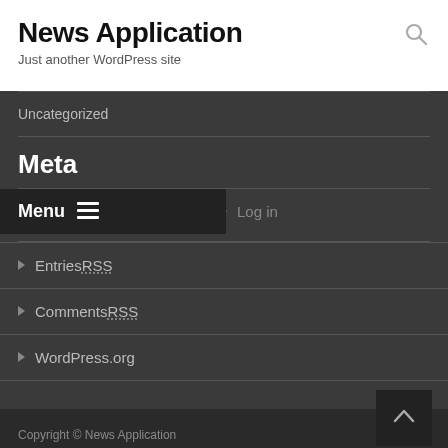News Application
Just another WordPress site
Uncategorized
Meta
Menu ≡
▶ Log in
▶ Entries RSS
▶ Comments RSS
▶ WordPress.org
Copyright © News Application
Powered by WordPress , Designed and Developed by templatesnext